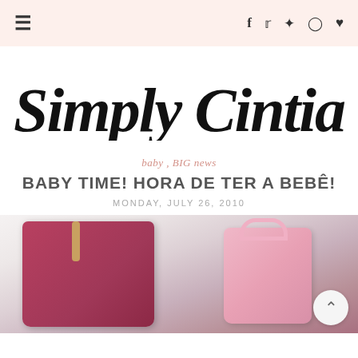≡   f  Twitter  Pinterest  Instagram  ♥
Simply Cintia
baby , BIG news
BABY TIME! HORA DE TER A BEBÊ!
MONDAY, JULY 26, 2010
[Figure (photo): Photo of pink and mauve travel bags/luggage on a light background]